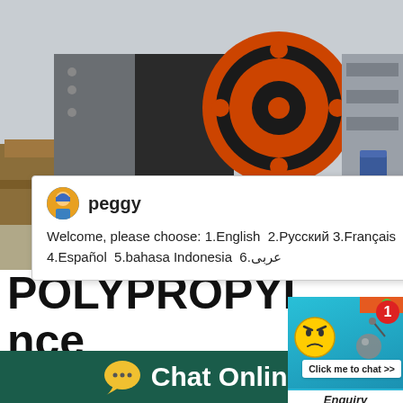[Figure (photo): Industrial machinery (jaw crusher) on a factory floor with orange and black components, in a manufacturing facility]
[Figure (screenshot): Chat popup with agent 'peggy' showing language selection options: 1.English 2.Русский 3.Français 4.Español 5.bahasa Indonesia 6.عربى]
POLYPROPYLENE (H...nce
2007-2-9    commercial production of polypro... 957. During the period 1956-1976 considerab... ing, Solvay, Montedison and Mitsui Petrochem...
[Figure (screenshot): Blue game/chat widget panel on right side with emoji face, ball, number 1 badge, and 'Click me to chat >>' button, plus 'Enquiry' bar]
Chat Online